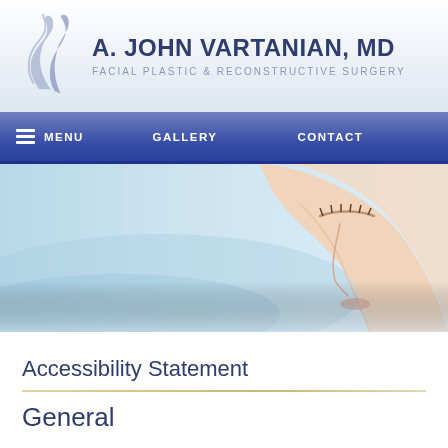[Figure (logo): A. John Vartanian MD Facial Plastic & Reconstructive Surgery logo with stylized face profile icon in blue-grey tones]
MENU  GALLERY  CONTACT
[Figure (photo): Close-up photo of a woman's face in profile with eyes closed against a light blue background]
Accessibility Statement
General